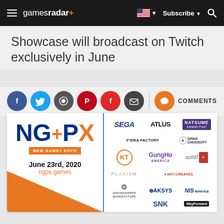gamesradar+ | Subscribe | Search
Showcase will broadcast on Twitch exclusively in June
[Figure (infographic): Social sharing icons: Facebook, Twitter, WhatsApp, Pinterest, Flipboard, Email, Comments]
[Figure (infographic): NGPX New Game+ Expo promotional banner. June 23rd, 2020. ngpx.games. Featuring publishers: SEGA, ATLUS, NATSUME, Idea Factory, Spike Chunsoft, KT, GungHo America, acttil, Inti Creates, Playism, Aksys Games, NIS America, Grasshopper Manufacture, SNK, WayForward.]